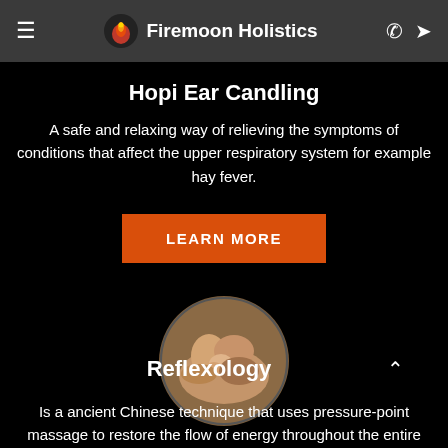Firemoon Holistics
Hopi Ear Candling
A safe and relaxing way of relieving the symptoms of conditions that affect the upper respiratory system for example hay fever.
LEARN MORE
[Figure (photo): Circular photo of hands performing reflexology or pressure-point massage on a foot]
Reflexology
Is a ancient Chinese technique that uses pressure-point massage to restore the flow of energy throughout the entire